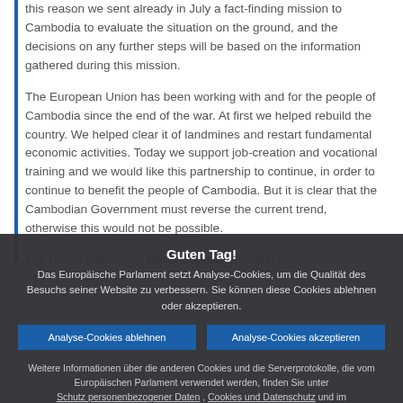this reason we sent already in July a fact-finding mission to Cambodia to evaluate the situation on the ground, and the decisions on any further steps will be based on the information gathered during this mission.
The European Union has been working with and for the people of Cambodia since the end of the war. At first we helped rebuild the country. We helped clear it of landmines and restart fundamental economic activities. Today we support job-creation and vocational training and we would like this partnership to continue, in order to continue to benefit the people of Cambodia. But it is clear that the Cambodian Government must reverse the current trend, otherwise this would not be possible.
The recent release on bail of opposition leader Kem
Guten Tag!
Das Europäische Parlament setzt Analyse-Cookies, um die Qualität des Besuchs seiner Website zu verbessern. Sie können diese Cookies ablehnen oder akzeptieren.
Analyse-Cookies ablehnen
Analyse-Cookies akzeptieren
Weitere Informationen über die anderen Cookies und die Serverprotokolle, die vom Europäischen Parlament verwendet werden, finden Sie unter Schutz personenbezogener Daten , Cookies und Datenschutz und im Cookie-Verzeichnis.